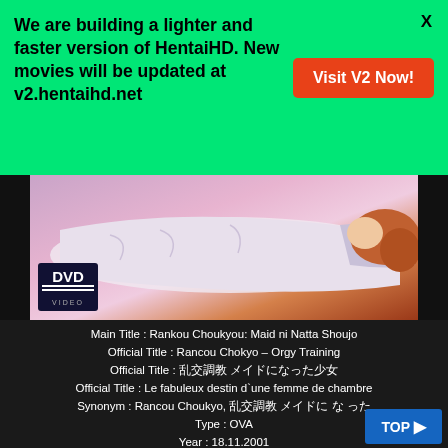We are building a lighter and faster version of HentaiHD. New movies will be updated at v2.hentaihd.net
Visit V2 Now!
X
[Figure (illustration): Anime character lying down, wearing white outfit with DVD video logo badge in lower left corner]
Main Title : Rankou Choukyou: Maid ni Natta Shoujo
Official Title : Rancou Chokyo – Orgy Training
Official Title : 乱交調教 メイドになった少女
Official Title : Le fabuleux destin d`une femme de chambre
Synonym : Rancou Choukyo, 乱交調教 メイドに な った
Type : OVA
Year : 18.11.2001
Tags : 18 restricted, deflowering, maid, manga, rape, sex
TOP ❶